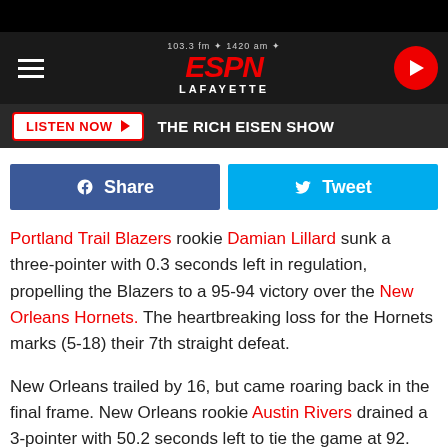[Figure (logo): ESPN Lafayette radio station logo with 103.3 fm and 1420 am frequencies, dark background header with hamburger menu and play button]
LISTEN NOW ▶  THE RICH EISEN SHOW
Share  Tweet
Portland Trail Blazers rookie Damian Lillard sunk a three-pointer with 0.3 seconds left in regulation, propelling the Blazers to a 95-94 victory over the New Orleans Hornets. The heartbreaking loss for the Hornets marks (5-18) their 7th straight defeat.
New Orleans trailed by 16, but came roaring back in the final frame. New Orleans rookie Austin Rivers drained a 3-pointer with 50.2 seconds left to tie the game at 92. Rookie Anthony Davis was outstanding off the bench, scoring 15 points in 34